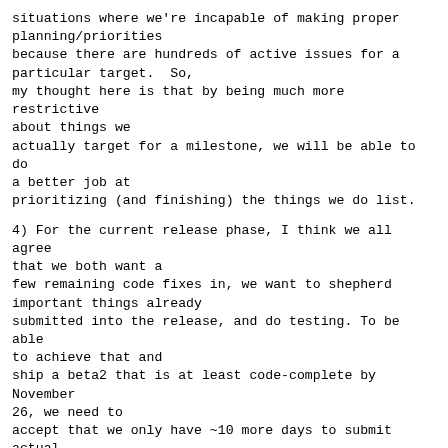situations where we're incapable of making proper planning/priorities
because there are hundreds of active issues for a particular target.  So,
my thought here is that by being much more restrictive about things we
actually target for a milestone, we will be able to do a better job at
prioritizing (and finishing) the things we do list.
4) For the current release phase, I think we all agree that we both want a
few remaining code fixes in, we want to shepherd important things already
submitted into the release, and do testing. To be able to achieve that and
ship a beta2 that is at least code-complete by November 26, we need to
accept that we only have ~10 more days to submit actual new code, after
which we need to reserve ~10 days for code review and a final few days for
testing.  Thus: A milestone of e.g. Nov 26 is a joint milestone for us as a
_team_ to finish everything for beta2, not an indication we can all keep
working on new code that we submit on November 25 :-)
5) Finally, I want to attempt a slightly "tighter" (in lack of better